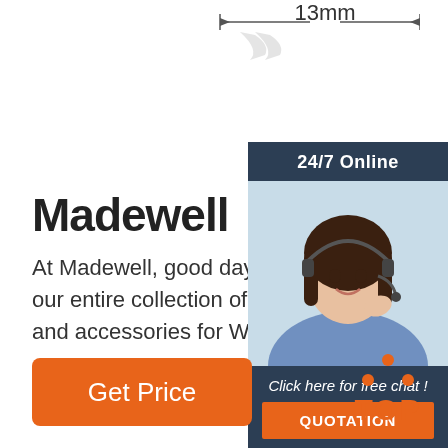[Figure (engineering-diagram): Dimension measurement diagram showing '13mm' with arrow lines indicating the measurement span]
Madewell
At Madewell, good days start with great our entire collection of denim, clothing, s and accessories for Women and Men. M
[Figure (infographic): Chat widget with '24/7 Online' header, photo of a woman wearing a headset, 'Click here for free chat!' text, and an orange QUOTATION button]
[Figure (other): Orange 'Get Price' button]
[Figure (logo): TOP logo with orange dots arranged in a triangle above the word TOP in orange]